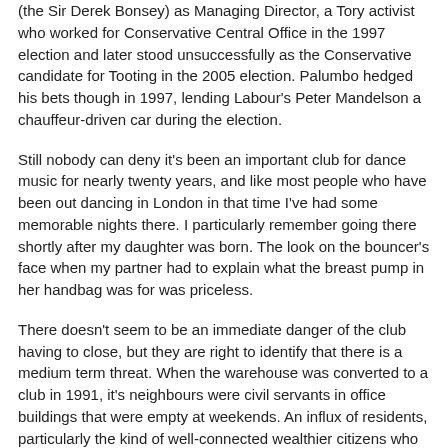(the Sir Derek Bonsey) as Managing Director, a Tory activist who worked for Conservative Central Office in the 1997 election and later stood unsuccessfully as the Conservative candidate for Tooting in the 2005 election. Palumbo hedged his bets though in 1997, lending Labour's Peter Mandelson a chauffeur-driven car during the election.
Still nobody can deny it's been an important club for dance music for nearly twenty years, and like most people who have been out dancing in London in that time I've had some memorable nights there. I particularly remember going there shortly after my daughter was born. The look on the bouncer's face when my partner had to explain what the breast pump in her handbag was for was priceless.
There doesn't seem to be an immediate danger of the club having to close, but they are right to identify that there is a medium term threat. When the warehouse was converted to a club in 1991, it's neighbours were civil servants in office buildings that were empty at weekends. An influx of residents, particularly the kind of well-connected wealthier citizens who know how to get their own way, would doubtless result in complaints and attempts to restrict the